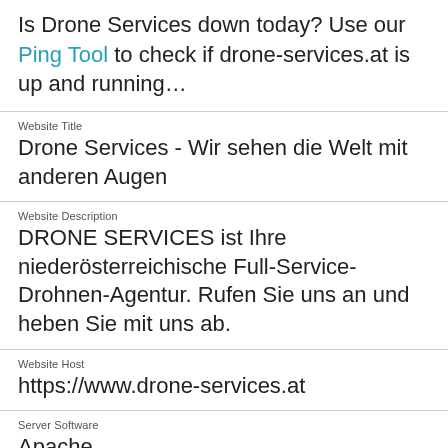Is Drone Services down today? Use our Ping Tool to check if drone-services.at is up and running…
Website Title
Drone Services - Wir sehen die Welt mit anderen Augen
Website Description
DRONE SERVICES ist Ihre niederösterreichische Full-Service-Drohnen-Agentur. Rufen Sie uns an und heben Sie mit uns ab.
Website Host
https://www.drone-services.at
Server Software
Apache